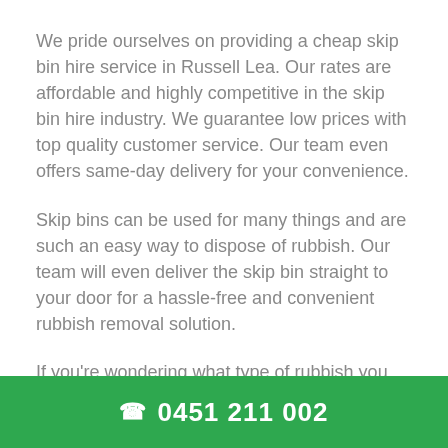We pride ourselves on providing a cheap skip bin hire service in Russell Lea. Our rates are affordable and highly competitive in the skip bin hire industry. We guarantee low prices with top quality customer service. Our team even offers same-day delivery for your convenience.
Skip bins can be used for many things and are such an easy way to dispose of rubbish. Our team will even deliver the skip bin straight to your door for a hassle-free and convenient rubbish removal solution.
If you're wondering what type of rubbish you can put in your Russell Lea skip bin, we've got all the answers! We take all kinds of rubbish except for
☎ 0451 211 002